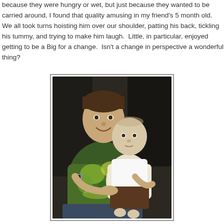because they were hungry or wet, but just because they wanted to be carried around, I found that quality amusing in my friend's 5 month old.  We all took turns hoisting him over our shoulder, patting his back, tickling his tummy, and trying to make him laugh.  Little, in particular, enjoyed getting to be a Big for a change.  Isn't a change in perspective a wonderful thing?
[Figure (photo): A boy wearing a green tie-dye shirt holding a baby dressed in white shirt and brown shorts, sitting in a chair.]